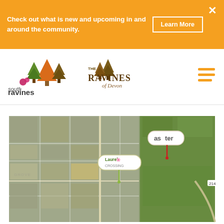Check out what is new and upcoming in and around the community. Learn More
[Figure (logo): South Ravines and The Ravines of Devon community logos with tree illustrations]
[Figure (map): Aerial satellite map showing community locations including Laurel Crossing and Aster developments near Devon, Alberta]